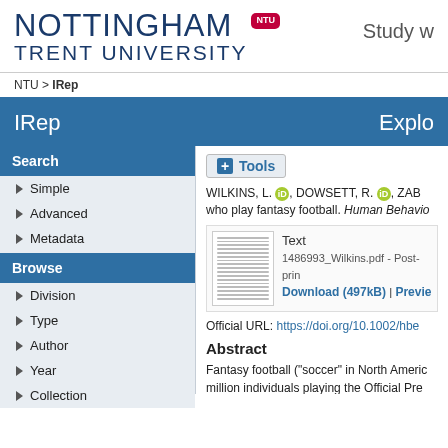NOTTINGHAM TRENT UNIVERSITY | NTU badge | Study w...
NTU > IRep
IRep    Explo...
Search
Simple
Advanced
Metadata
Browse
Division
Type
Author
Year
Collection
+ Tools
WILKINS, L. [iD], DOWSETT, R. [iD], ZAB... who play fantasy football. Human Behavio...
Text
1486993_Wilkins.pdf - Post-prin...
Download (497kB) | Previe...
Official URL: https://doi.org/10.1002/hbe...
Abstract
Fantasy football ("soccer" in North Americ... million individuals playing the Official Pre... the game with mental health concerns, to...